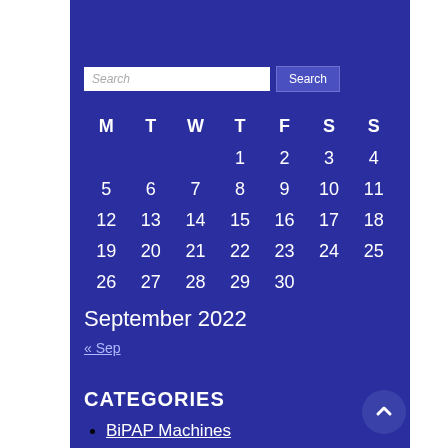[Figure (other): Hamburger menu icon (three horizontal white lines) on dark blue top navigation bar]
| M | T | W | T | F | S | S |
| --- | --- | --- | --- | --- | --- | --- |
|  |  |  | 1 | 2 | 3 | 4 |
| 5 | 6 | 7 | 8 | 9 | 10 | 11 |
| 12 | 13 | 14 | 15 | 16 | 17 | 18 |
| 19 | 20 | 21 | 22 | 23 | 24 | 25 |
| 26 | 27 | 28 | 29 | 30 |  |  |
September 2022
« Sep
CATEGORIES
BiPAP Machines
Care and Maintenance
CPAP Machines